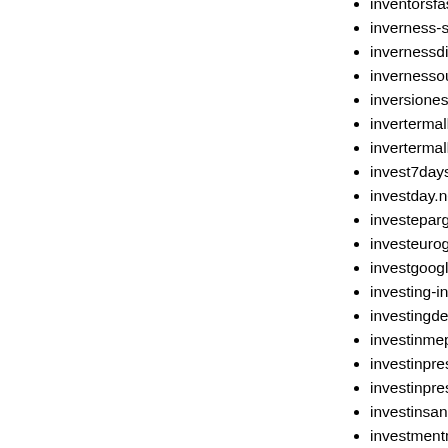inventorsfasttrackbymava.com
inverness-shirerealestate.com
invernessdirectory.com
invernessoutsidecatering.com
inversionesbienesraices.com
invertermall.com
invertermall.net
invest7days.com
investday.net
investepargne.com
investeurogroup.com
investgoogle.com
investing-in-gold-coins.com
investingdetails.com
investinmeplease.com
investinprescot.com
investinprescott.net
investinsand.com
investmentmortgageplanning...
investmentpropertiesintheus...
investmentrealestateintheus...
investmentsfornesteggs.net
investmenttransparency.net
investonindia.com
investonyourown.com
investorpropertiesunlimited...
investorpropertyunlimited.co...
investorrealestateunlimited.co...